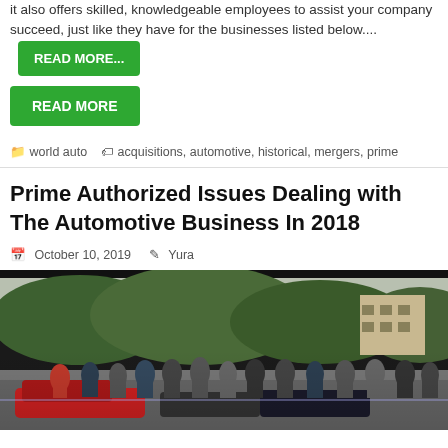it also offers skilled, knowledgeable employees to assist your company succeed, just like they have for the businesses listed below....  READ MORE...
READ MORE
world auto   acquisitions, automotive, historical, mergers, prime
Prime Authorized Issues Dealing with The Automotive Business In 2018
October 10, 2019   Yura
[Figure (photo): Outdoor automotive event with a crowd of people gathered around cars, including a red sports car in the foreground, with trees and a building in the background]